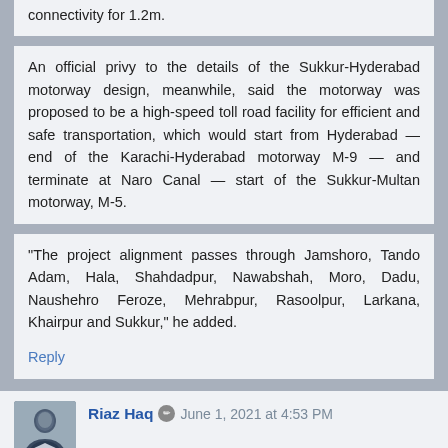connectivity for 1.2m.
An official privy to the details of the Sukkur-Hyderabad motorway design, meanwhile, said the motorway was proposed to be a high-speed toll road facility for efficient and safe transportation, which would start from Hyderabad — end of the Karachi-Hyderabad motorway M-9 — and terminate at Naro Canal — start of the Sukkur-Multan motorway, M-5.
“The project alignment passes through Jamshoro, Tando Adam, Hala, Shahdadpur, Nawabshah, Moro, Dadu, Naushehro Feroze, Mehrabpur, Rasoolpur, Larkana, Khairpur and Sukkur,” he added.
Reply
Riaz Haq ✏ June 1, 2021 at 4:53 PM
NHA constructing motorways, highways with joint ventures
https://nation.com.pk/10-May-2021/nha-constructing-